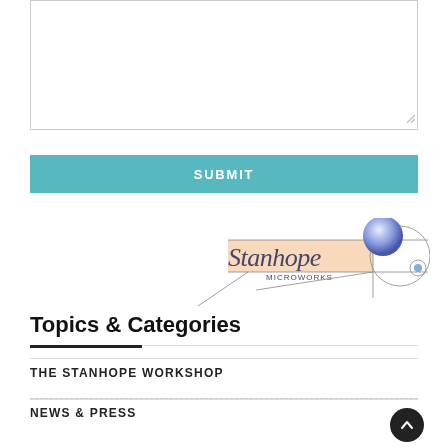[Figure (other): A textarea input box with a resize handle at the bottom-right corner]
SUBMIT
[Figure (logo): Stanhope Microworks logo with stylized text and geometric shapes including circles and lines]
Topics & Categories
THE STANHOPE WORKSHOP
NEWS & PRESS